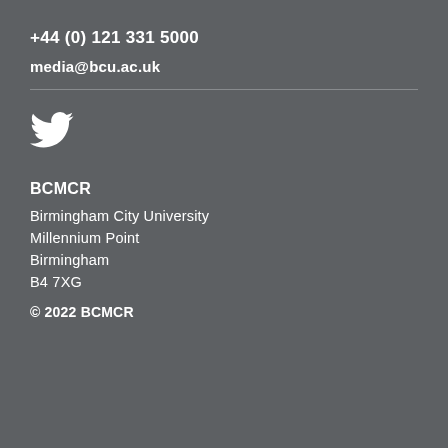+44 (0) 121 331 5000
media@bcu.ac.uk
[Figure (logo): Twitter bird icon in white]
BCMCR
Birmingham City University
Millennium Point
Birmingham
B4 7XG
© 2022 BCMCR